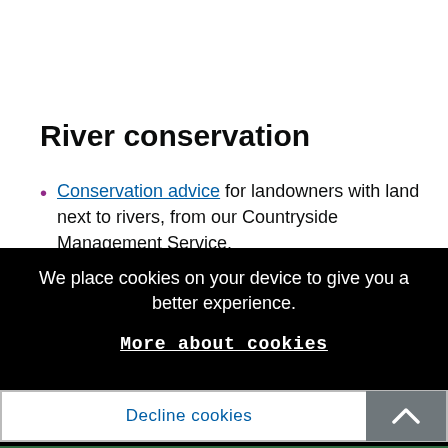River conservation
Conservation advice for landowners with land next to rivers, from our Countryside Management Service.
We place cookies on your device to give you a better experience.
More about cookies
Decline cookies
Accept cookies